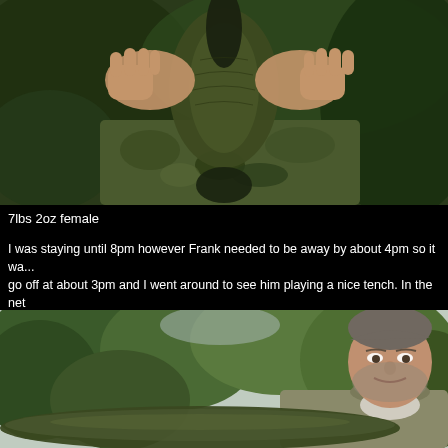[Figure (photo): Close-up of hands holding a large tench fish from above, showing the dark dorsal fin and olive-green body. Person wearing camouflage clothing, green foliage in background.]
7lbs 2oz female
I was staying until 8pm however Frank needed to be away by about 4pm so it wa... go off at about 3pm and I went around to see him playing a nice tench. In the net she looked a great fish in fact 8lbs. There were a few lacerations on this girl whic... happen in the fight. Frank was pleased as I was to see a big girl in the area and p... along.
[Figure (photo): Man with grey beard and hair smiling, holding a large tench fish in front of him, green trees and shrubs in background.]